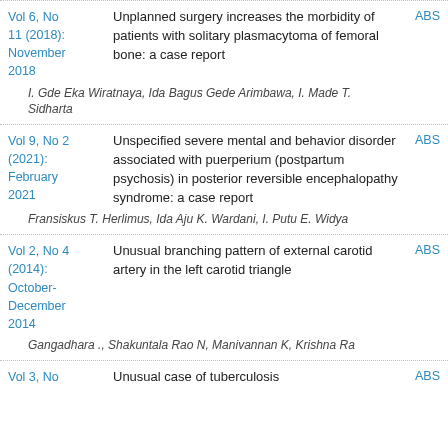Vol 6, No 11 (2018): November 2018 — Unplanned surgery increases the morbidity of patients with solitary plasmacytoma of femoral bone: a case report — ABS
I. Gde Eka Wiratnaya, Ida Bagus Gede Arimbawa, I. Made T. Sidharta
Vol 9, No 2 (2021): February 2021 — Unspecified severe mental and behavior disorder associated with puerperium (postpartum psychosis) in posterior reversible encephalopathy syndrome: a case report — ABS
Fransiskus T. Herlimus, Ida Aju K. Wardani, I. Putu E. Widya
Vol 2, No 4 (2014): October-December 2014 — Unusual branching pattern of external carotid artery in the left carotid triangle — ABS
Gangadhara ., Shakuntala Rao N, Manivannan K, Krishna Ra
Vol 3, No ... (2015) — Unusual case of tuberculosis — ABS